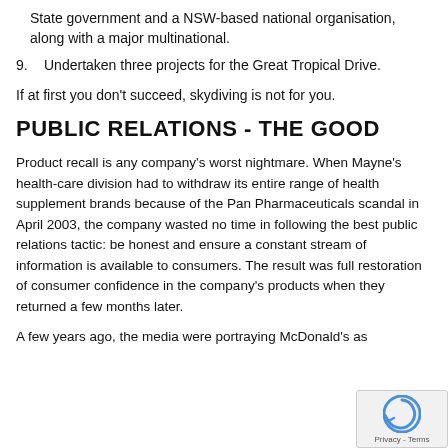State government and a NSW-based national organisation, along with a major multinational.
9. Undertaken three projects for the Great Tropical Drive.
If at first you don't succeed, skydiving is not for you.
PUBLIC RELATIONS - THE GOOD
Product recall is any company's worst nightmare. When Mayne's health-care division had to withdraw its entire range of health supplement brands because of the Pan Pharmaceuticals scandal in April 2003, the company wasted no time in following the best public relations tactic: be honest and ensure a constant stream of information is available to consumers. The result was full restoration of consumer confidence in the company's products when they returned a few months later.
A few years ago, the media were portraying McDonald's as